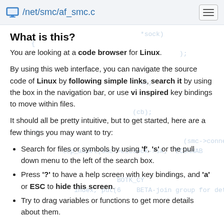/net/smc/af_smc.c
What is this?
You are looking at a code browser for Linux.
By using this web interface, you can navigate the source code of Linux by following simple links, search it by using the box in the navigation bar, or use vi inspired key bindings to move within files.
It should all be pretty intuitive, but to get started, here are a few things you may want to try:
Search for files or symbols by using 'f', 's' or the pull down menu to the left of the search box.
Press '?' to have a help screen with key bindings, and 'a' or ESC to hide this screen.
Try to drag variables or functions to get more details about them.
This site was generated via sbexr, which uses LLVM and clang to parse and index the code.
sbexr is free software (as in "free speech"), under heavy development, sbexr.base.org and the Linux kernel source code...